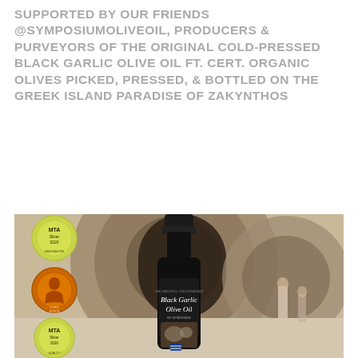SUPPORTED BY OUR FRIENDS @SYMPOSIUMOLIVEOIL, PRODUCERS & PURVEYORS OF THE ORIGINAL COLD-PRESSED BLACK GARLIC OLIVE OIL FT. CERT. ORGANIC OLIVES PICKED, PRESSED, & BOTTLED ON THE GREEK ISLAND PARADISE OF ZAKYNTHOS
[Figure (photo): Photo of a bottle of Black Garlic Olive Oil by Symposium, shown against a backdrop of large stone/rock formations outdoors. On the left side of the image are three award medallions: two yellow/green MTA (Mediterranean Taste Awards) Silver 2020 medallions (Innovation and Quality) and one orange Lord Byron medallion, plus a partial Berlin GODA olive oil award badge at the bottom.]